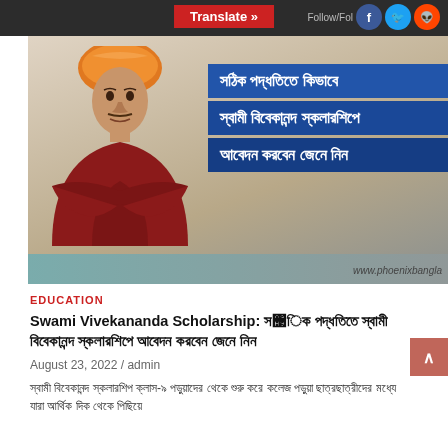Translate » Follow/Follow
[Figure (illustration): Swami Vivekananda scholarship banner with image of Swami Vivekananda in orange turban and Bengali text overlay on blue background, website watermark www.phoenixbangla]
EDUCATION
Swami Vivekananda Scholarship: সঠিক পদ্ধতিতে স্বামী বিবেকানন্দ স্কলারশিপে আবেদন করবেন জেনে নিন
August 23, 2022 / admin
স্বামী বিবেকানন্দ স্কলারশিপ ক্লাস-৯ পড়ুয়াদের থেকে শুরু করে কলেজ পড়ুয়া ছাত্রছাত্রীদের মধ্যে যারা আর্থিক দিক থেকে পিছিয়ে